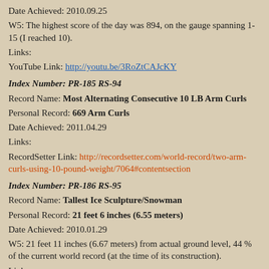Date Achieved: 2010.09.25
W5: The highest score of the day was 894, on the gauge spanning 1-15 (I reached 10).
Links:
YouTube Link: http://youtu.be/3RoZtCAJcKY
Index Number: PR-185 RS-94
Record Name: Most Alternating Consecutive 10 LB Arm Curls
Personal Record: 669 Arm Curls
Date Achieved: 2011.04.29
Links:
RecordSetter Link: http://recordsetter.com/world-record/two-arm-curls-using-10-pound-weight/7064#contentsection
Index Number: PR-186 RS-95
Record Name: Tallest Ice Sculpture/Snowman
Personal Record: 21 feet 6 inches (6.55 meters)
Date Achieved: 2010.01.29
W5: 21 feet 11 inches (6.67 meters) from actual ground level, 44 % of the current world record (at the time of its construction).
Links:
RecordSetter Link: http://recordsetter.com/world-record/tallest-ice-sculpture-built-individual/5918#contentsection